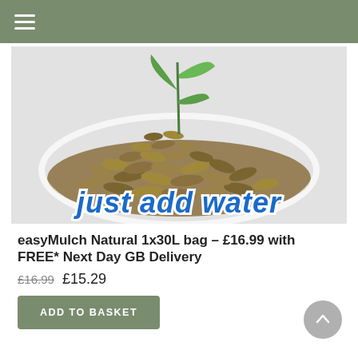≡
[Figure (photo): A pile of compressed mulch pellets with a small green plant sprouting from the top, on a light grey background. Text overlay at bottom reads 'just add water' in bold blue font with white stroke.]
easyMulch Natural 1x30L bag – £16.99 with FREE* Next Day GB Delivery
£16.99 £15.29
ADD TO BASKET